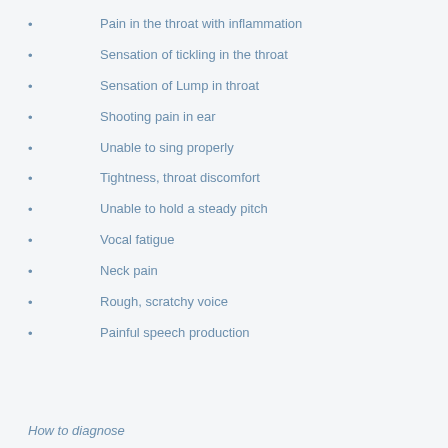Pain in the throat with inflammation
Sensation of tickling in the throat
Sensation  of Lump in throat
Shooting pain in ear
Unable to sing properly
Tightness, throat discomfort
Unable to hold a steady pitch
Vocal fatigue
Neck pain
Rough, scratchy voice
Painful speech production
How to diagnose